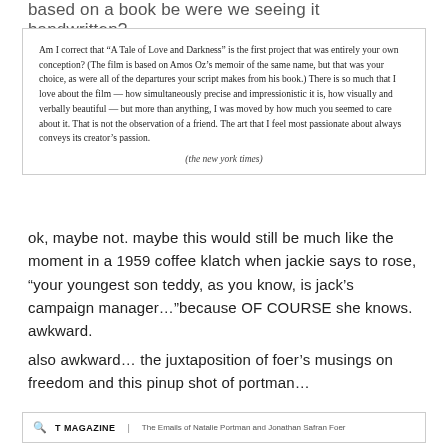based on a book be were we seeing it handwritten?
Am I correct that “A Tale of Love and Darkness” is the first project that was entirely your own conception? (The film is based on Amos Oz’s memoir of the same name, but that was your choice, as were all of the departures your script makes from his book.) There is so much that I love about the film — how simultaneously precise and impressionistic it is, how visually and verbally beautiful — but more than anything, I was moved by how much you seemed to care about it. That is not the observation of a friend. The art that I feel most passionate about always conveys its creator’s passion.
(the new york times)
ok, maybe not. maybe this would still be much like the moment in a 1959 coffee klatch when jackie says to rose, “your youngest son teddy, as you know, is jack’s campaign manager…”because OF COURSE she knows. awkward.
also awkward… the juxtaposition of foer’s musings on freedom and this pinup shot of portman…
[Figure (screenshot): T Magazine website header showing search icon, T MAGAZINE title, and subtitle 'The Emails of Natalie Portman and Jonathan Safran Foer']